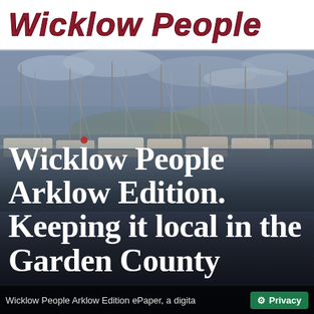Wicklow People
[Figure (photo): Marina/harbour scene with multiple sailboats and masts moored at a dock, hilly landscape in background, overcast sky, with large overlaid headline text]
Wicklow People Arklow Edition. Keeping it local in the Garden County
Wicklow People Arklow Edition ePaper, a digita  Privacy